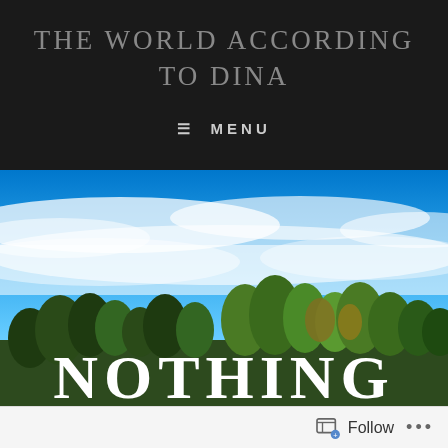THE WORLD ACCORDING TO DINA
≡ MENU
[Figure (photo): Outdoor landscape photo showing a bright blue sky with wispy white clouds and a treeline of green and autumn-colored trees at the bottom. The word NOTHING appears in large white bold uppercase letters overlaid at the bottom of the image.]
Follow ...